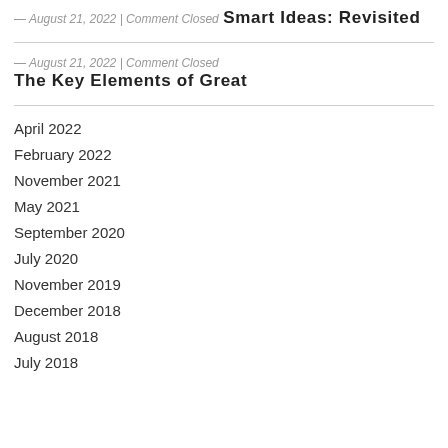— August 21, 2022 | Comment Closed
Smart Ideas: Revisited
— August 21, 2022 | Comment Closed
The Key Elements of Great
April 2022
February 2022
November 2021
May 2021
September 2020
July 2020
November 2019
December 2018
August 2018
July 2018